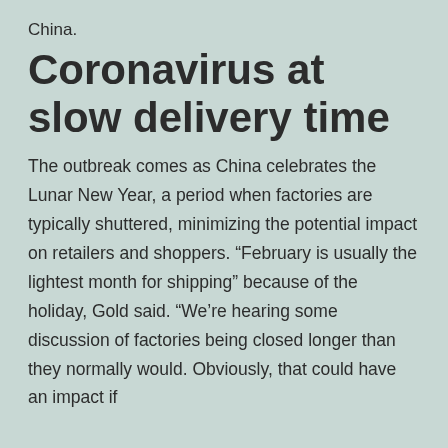China.
Coronavirus at slow delivery time
The outbreak comes as China celebrates the Lunar New Year, a period when factories are typically shuttered, minimizing the potential impact on retailers and shoppers. “February is usually the lightest month for shipping” because of the holiday, Gold said. “We’re hearing some discussion of factories being closed longer than they normally would. Obviously, that could have an impact if